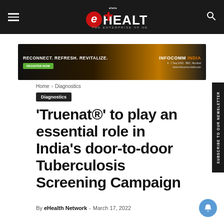eHEALTH — THE ENTERPRISE OF HEALTHCARE
[Figure (illustration): Advertisement banner: RECONNECT. REFRESH. REVITALIZE. — infocomm INDIA, 6-7 Sep 2022, BEC, Mumbai, www.infocomm-india.com, with a REGISTER NOW button]
Home › Diagnostics
Diagnostics
'Truenat®' to play an essential role in India's door-to-door Tuberculosis Screening Campaign
By eHealth Network - March 17, 2022